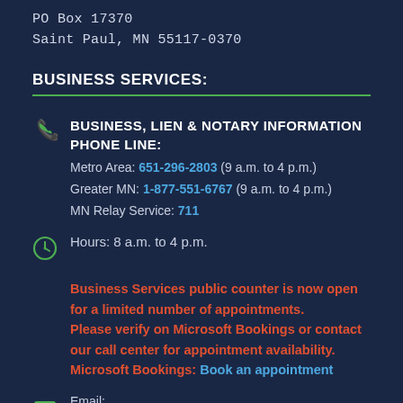PO Box 17370
Saint Paul, MN 55117-0370
BUSINESS SERVICES:
BUSINESS, LIEN & NOTARY INFORMATION PHONE LINE:
Metro Area: 651-296-2803 (9 a.m. to 4 p.m.)
Greater MN: 1-877-551-6767 (9 a.m. to 4 p.m.)
MN Relay Service: 711
Hours: 8 a.m. to 4 p.m.
Business Services public counter is now open for a limited number of appointments.
Please verify on Microsoft Bookings or contact our call center for appointment availability.
Microsoft Bookings: Book an appointment
Email: